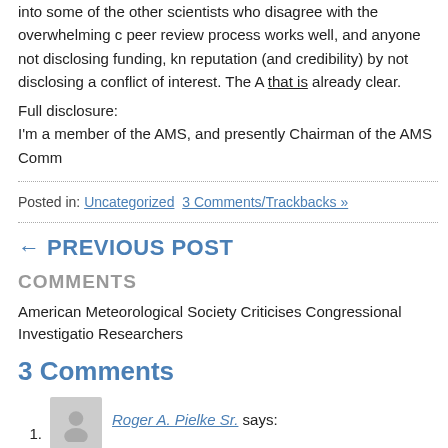into some of the other scientists who disagree with the overwhelming consensus, peer review process works well, and anyone not disclosing funding, kn reputation (and credibility) by not disclosing a conflict of interest. The A that is already clear.
Full disclosure:
I'm a member of the AMS, and presently Chairman of the AMS Comm
Posted in: Uncategorized  3 Comments/Trackbacks »
← PREVIOUS POST
COMMENTS
American Meteorological Society Criticises Congressional Investigatio Researchers
3 Comments
Roger A. Pielke Sr. says: